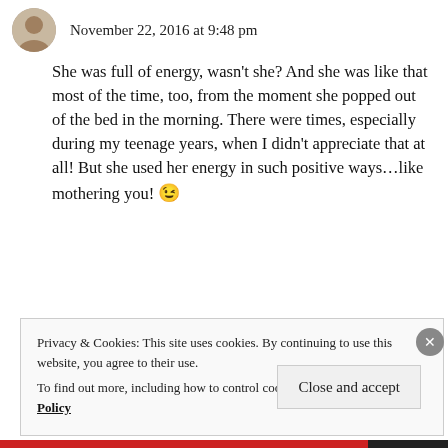November 22, 2016 at 9:48 pm
She was full of energy, wasn't she? And she was like that most of the time, too, from the moment she popped out of the bed in the morning. There were times, especially during my teenage years, when I didn't appreciate that at all! But she used her energy in such positive ways...like mothering you! 😉
★ Like
↩ Reply
Privacy & Cookies: This site uses cookies. By continuing to use this website, you agree to their use. To find out more, including how to control cookies, see here: Cookie Policy
Close and accept